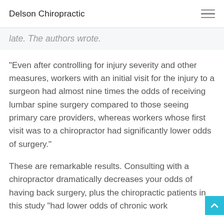Delson Chiropractic
late. The authors wrote.
"Even after controlling for injury severity and other measures, workers with an initial visit for the injury to a surgeon had almost nine times the odds of receiving lumbar spine surgery compared to those seeing primary care providers, whereas workers whose first visit was to a chiropractor had significantly lower odds of surgery."
These are remarkable results. Consulting with a chiropractor dramatically decreases your odds of having back surgery, plus the chiropractic patients in this study "had lower odds of chronic work